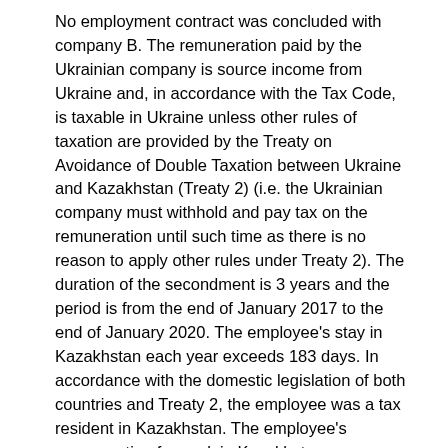No employment contract was concluded with company B. The remuneration paid by the Ukrainian company is source income from Ukraine and, in accordance with the Tax Code, is taxable in Ukraine unless other rules of taxation are provided by the Treaty on Avoidance of Double Taxation between Ukraine and Kazakhstan (Treaty 2) (i.e. the Ukrainian company must withhold and pay tax on the remuneration until such time as there is no reason to apply other rules under Treaty 2). The duration of the secondment is 3 years and the period is from the end of January 2017 to the end of January 2020. The employee's stay in Kazakhstan each year exceeds 183 days. In accordance with the domestic legislation of both countries and Treaty 2, the employee was a tax resident in Kazakhstan. The employee's remuneration for work in Kazakhstan was taxable in Kazakhstan under domestic law (the employee was required to file a tax return and pay tax at the end of each year).
Case study
In this situation, double taxation arises. This can be eliminated on the basis of Treaty 2, which provides for taxation of the employee's remuneration only in Kazakhstan. However, in